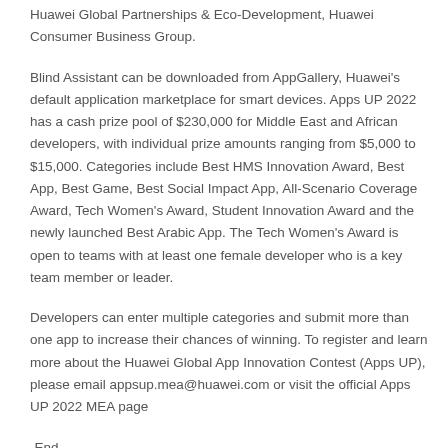Huawei Global Partnerships & Eco-Development, Huawei Consumer Business Group.
Blind Assistant can be downloaded from AppGallery, Huawei's default application marketplace for smart devices. Apps UP 2022 has a cash prize pool of $230,000 for Middle East and African developers, with individual prize amounts ranging from $5,000 to $15,000. Categories include Best HMS Innovation Award, Best App, Best Game, Best Social Impact App, All-Scenario Coverage Award, Tech Women's Award, Student Innovation Award and the newly launched Best Arabic App. The Tech Women's Award is open to teams with at least one female developer who is a key team member or leader.
Developers can enter multiple categories and submit more than one app to increase their chances of winning. To register and learn more about the Huawei Global App Innovation Contest (Apps UP), please email appsup.mea@huawei.com or visit the official Apps UP 2022 MEA page
-End-